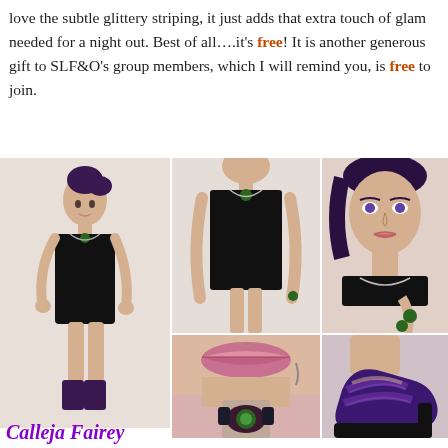love the subtle glittery striping, it just adds that extra touch of glam needed for a night out. Best of all….it's free! It is another generous gift to SLF&O's group members, which I will remind you, is free to join.
[Figure (photo): Collage of five virtual avatar photos showing a female avatar in a black strapless mini dress with subtle glittery striping, purple heels, and green gemstone jewelry. Views include: full body left, full body center, close-up face and neckline right, close-up lips and rings bottom center, close-up purple high heel shoes bottom right.]
Calleja Fairey